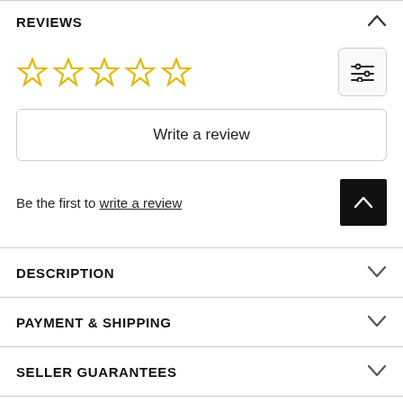REVIEWS
[Figure (other): Five empty star rating icons in yellow/gold outline, and a filter/sliders icon button on the right]
Write a review
Be the first to write a review
DESCRIPTION
PAYMENT & SHIPPING
SELLER GUARANTEES